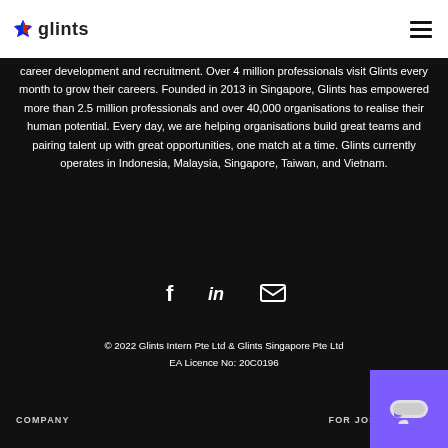[Figure (logo): Glints logo with star icon and 'glints' text wordmark]
career development and recruitment. Over 4 million professionals visit Glints every month to grow their careers. Founded in 2013 in Singapore, Glints has empowered more than 2.5 million professionals and over 40,000 organisations to realise their human potential. Every day, we are helping organisations build great teams and pairing talent up with great opportunities, one match at a time. Glints currently operates in Indonesia, Malaysia, Singapore, Taiwan, and Vietnam.
[Figure (infographic): Social media icons: Facebook (f), LinkedIn (in), Email (envelope)]
© 2022 Glints Intern Pte Ltd & Glints Singapore Pte Ltd
EA Licence No: 20C0196
COMPANY    FOR JOB SEEKERS